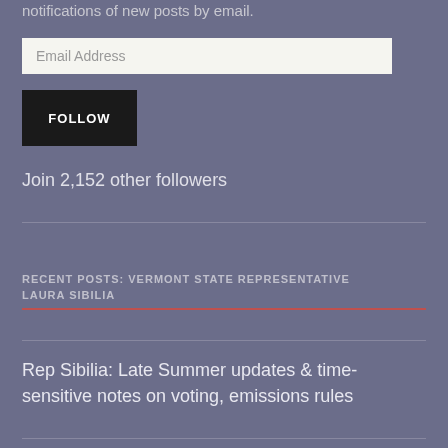notifications of new posts by email.
Email Address
FOLLOW
Join 2,152 other followers
RECENT POSTS: VERMONT STATE REPRESENTATIVE LAURA SIBILIA
Rep Sibilia: Late Summer updates & time-sensitive notes on voting, emissions rules